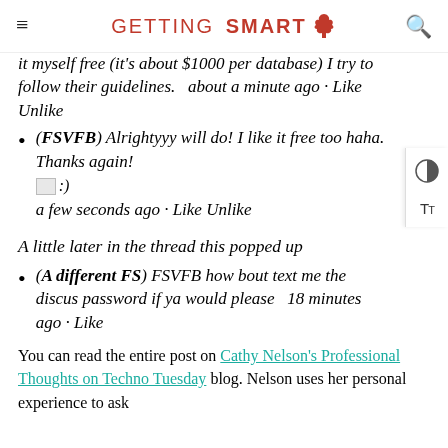GETTING SMART
it myself free (it's about $1000 per database) I try to follow their guidelines.   about a minute ago · Like Unlike
(FSVFB) Alrightyyy will do! I like it free too haha. Thanks again! :) a few seconds ago · Like Unlike
A little later in the thread this popped up
(A different FS) FSVFB how bout text me the discus password if ya would please   18 minutes ago · Like
You can read the entire post on Cathy Nelson's Professional Thoughts on Techno Tuesday blog. Nelson uses her personal experience to ask